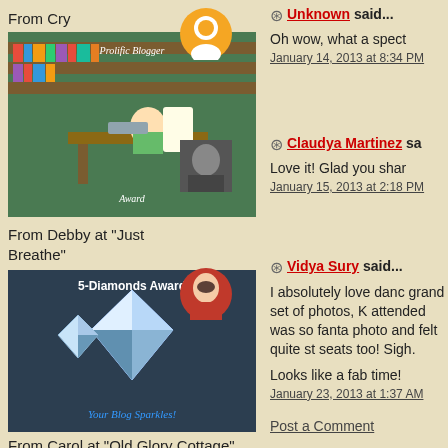From Cry
[Figure (illustration): Prolific Blogger Award image showing a cartoon character at a desk surrounded by books]
From Debby at "Just Breathe"
[Figure (photo): 5-Diamonds Award with diamonds and text 'Your Blog Sparkles!']
From Carol at "Old Glory Cottage"
[Figure (illustration): Superior Scribbler Award badge]
Unknown said...
Oh wow, what a spect
January 14, 2013 at 8:34 PM
Claudya Martinez sa
Love it! Glad you shar
January 15, 2013 at 2:18 PM
Vidya Sury said...
I absolutely love danc grand set of photos, K attended was so fanta photo and felt quite st seats too! Sigh.
Looks like a fab time!
January 23, 2013 at 1:37 AM
Post a Comment